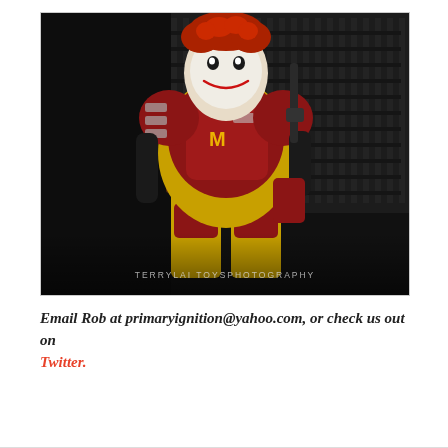[Figure (photo): A custom action figure/toy of a character wearing red and yellow Mandalorian-style armor with a McDonald's logo on the chest, red curly hair, clown-like white face paint, holding a blaster rifle. Dark gridded background. Watermark reads: TERRYLAI TOYSPHOTOGRAPHY]
Email Rob at primaryignition@yahoo.com, or check us out on Twitter.